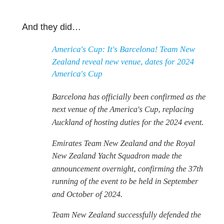And they did…
America's Cup: It's Barcelona! Team New Zealand reveal new venue, dates for 2024 America's Cup
Barcelona has officially been confirmed as the next venue of the America's Cup, replacing Auckland of hosting duties for the 2024 event.
Emirates Team New Zealand and the Royal New Zealand Yacht Squadron made the announcement overnight, confirming the 37th running of the event to be held in September and October of 2024.
Team New Zealand successfully defended the Auld Mug last year with a 7-3 victory over Luna Rossa and then rejected a $90 million bid from the New Zealand…